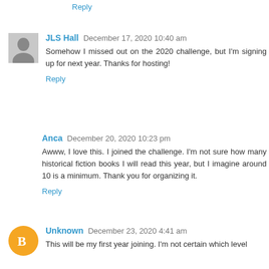Reply
JLS Hall  December 17, 2020 10:40 am
Somehow I missed out on the 2020 challenge, but I'm signing up for next year. Thanks for hosting!
Reply
Anca  December 20, 2020 10:23 pm
Awww, I love this. I joined the challenge. I'm not sure how many historical fiction books I will read this year, but I imagine around 10 is a minimum. Thank you for organizing it.
Reply
Unknown  December 23, 2020 4:41 am
This will be my first year joining. I'm not certain which level